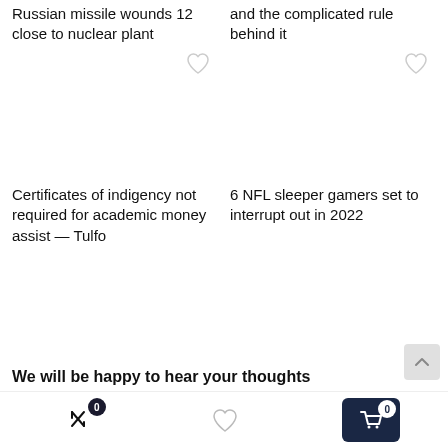Russian missile wounds 12 close to nuclear plant
and the complicated rule behind it
[Figure (other): Empty image placeholder with heart/like icon for first article card]
[Figure (other): Empty image placeholder with heart/like icon for second article card]
Certificates of indigency not required for academic money assist — Tulfo
6 NFL sleeper gamers set to interrupt out in 2022
We will be happy to hear your thoughts